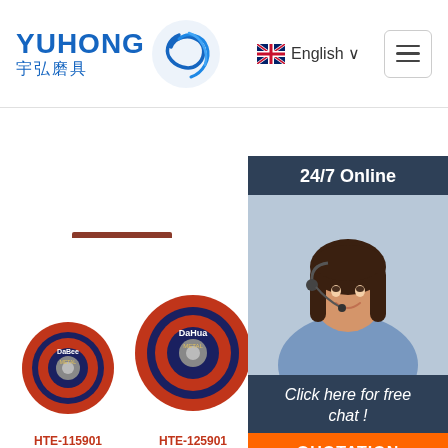[Figure (logo): YUHONG 宇弘磨具 logo with blue wave/swirl icon]
English ∨
Get Price
[Figure (infographic): 24/7 Online customer service widget with woman wearing headset, 'Click here for free chat!' text, and QUOTATION button]
[Figure (photo): Three DaHua/DaBee branded abrasive cutting discs of sizes HTE-115901, HTE-125901, HTE-230901 arranged in ascending size order]
HTE-115901
HTE-125901
HTE-230901